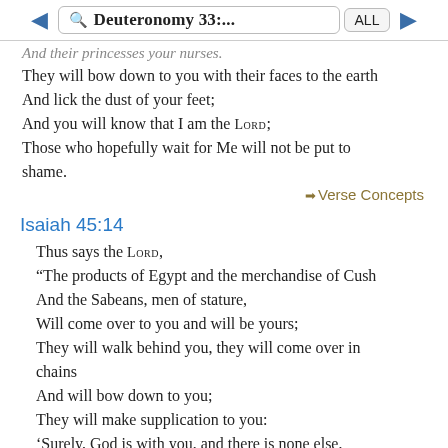Deuteronomy 33:... ALL
And their princesses your nurses.
They will bow down to you with their faces to the earth
And lick the dust of your feet;
And you will know that I am the LORD;
Those who hopefully wait for Me will not be put to shame.
➜ Verse Concepts
Isaiah 45:14
Thus says the LORD,
“The products of Egypt and the merchandise of Cush
And the Sabeans, men of stature,
Will come over to you and will be yours;
They will walk behind you, they will come over in chains
And will bow down to you;
They will make supplication to you:
‘Surely, God is with you, and there is none else,
No other God.’”